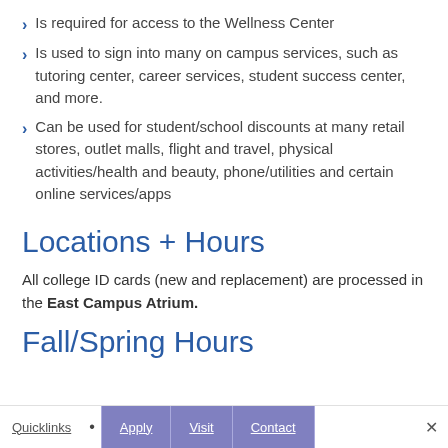Is required for access to the Wellness Center
Is used to sign into many on campus services, such as tutoring center, career services, student success center, and more.
Can be used for student/school discounts at many retail stores, outlet malls, flight and travel, physical activities/health and beauty, phone/utilities and certain online services/apps
Locations + Hours
All college ID cards (new and replacement) are processed in the East Campus Atrium.
Fall/Spring Hours
Quicklinks  |  Apply  |  Visit  |  Contact  |  ×